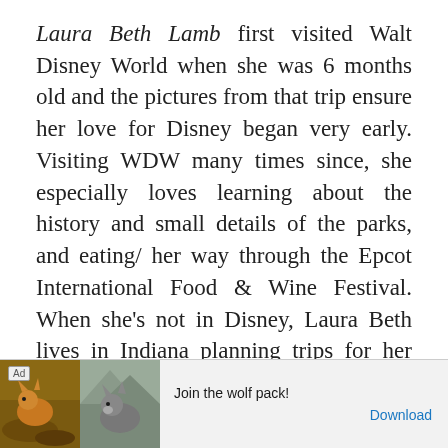Laura Beth Lamb first visited Walt Disney World when she was 6 months old and the pictures from that trip ensure her love for Disney began very early. Visiting WDW many times since, she especially loves learning about the history and small details of the parks, and eating/ her way through the Epcot International Food & Wine Festival. When she's not in Disney, Laura Beth lives in Indiana planning trips for her clients and spending her time counting down the days until her next trip. You can contact Laura Beth at
[Figure (other): Advertisement banner showing wolf/fox animals with text 'Join the wolf pack!' and a Download button]